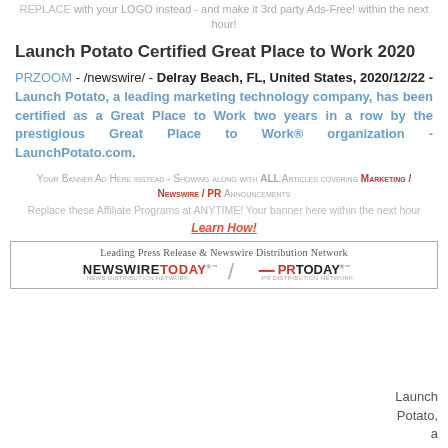REPLACE with your LOGO instead - and make it 3rd party Ads-Free! within the next hour!
Launch Potato Certified Great Place to Work 2020
PRZOOM - /newswire/ - Delray Beach, FL, United States, 2020/12/22 - Launch Potato, a leading marketing technology company, has been certified as a Great Place to Work two years in a row by the prestigious Great Place to Work® organization - LaunchPotato.com.
Your Banner Ad Here instead - Showing along with ALL Articles covering Marketing / Newswire / PR Announcements
Replace these Affiliate Programs at ANYTIME! Your banner here within the next hour Learn How!
[Figure (logo): NewswireToday and PRToday banner - Leading Press Release & Newswire Distribution Network]
Launch Potato, a